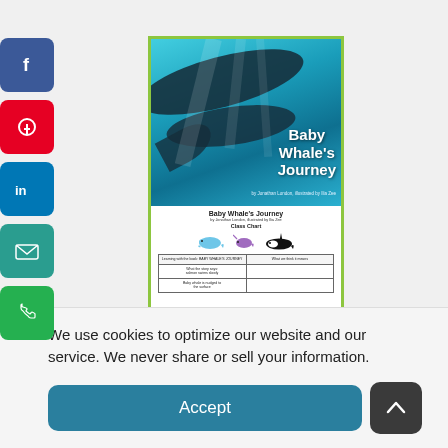[Figure (illustration): Social sharing sidebar with Facebook (blue), Pinterest (red), LinkedIn (blue), Email (teal), and Phone (green) buttons on the left side of the page.]
[Figure (illustration): Book cover for 'Baby Whale's Journey' showing an underwater photograph of whales in blue water with the book title in white text, and below it a worksheet preview with whale/orca illustrations and a class chart table.]
We use cookies to optimize our website and our service. We never share or sell your information.
Accept